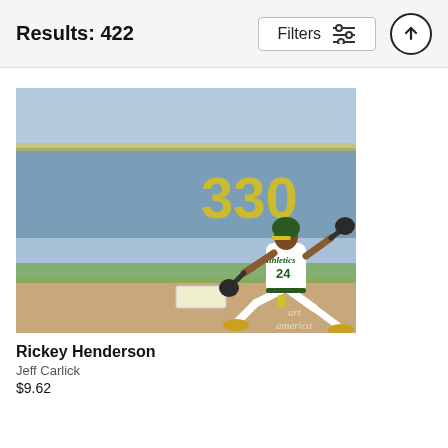Results: 422
[Figure (photo): A baseball player wearing Oakland Athletics #24 jersey and green helmet running, with a blue outfield wall showing the number 330 in yellow in the background. Watermark reads 'art america'.]
Rickey Henderson
Jeff Carlick
$9.62